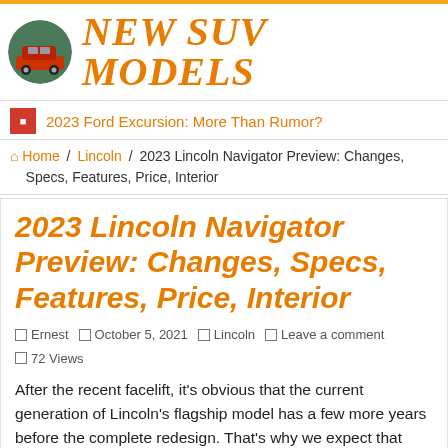NEW SUV MODELS
2023 Ford Excursion: More Than Rumor?
Home / Lincoln / 2023 Lincoln Navigator Preview: Changes, Specs, Features, Price, Interior
2023 Lincoln Navigator Preview: Changes, Specs, Features, Price, Interior
Ernest   October 5, 2021   Lincoln   Leave a comment  72 Views
After the recent facelift, it's obvious that the current generation of Lincoln's flagship model has a few more years before the complete redesign. That's why we expect that